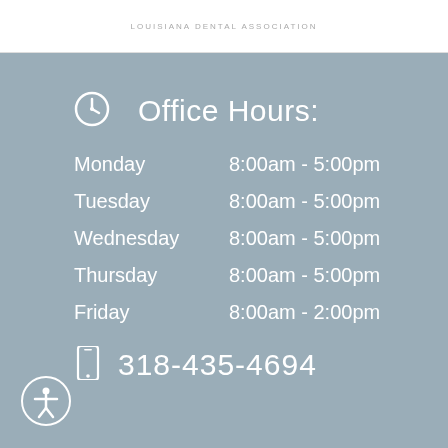LOUISIANA DENTAL ASSOCIATION
Office Hours:
Monday   8:00am - 5:00pm
Tuesday   8:00am - 5:00pm
Wednesday   8:00am - 5:00pm
Thursday   8:00am - 5:00pm
Friday   8:00am - 2:00pm
318-435-4694